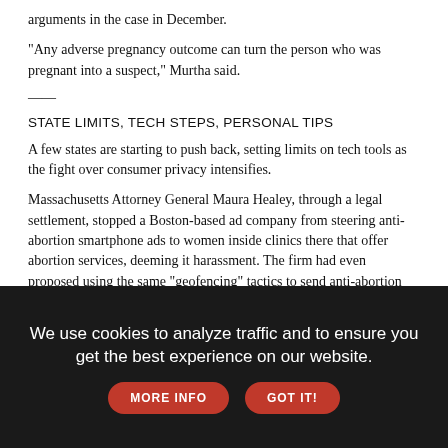arguments in the case in December.
"Any adverse pregnancy outcome can turn the person who was pregnant into a suspect," Murtha said.
——
STATE LIMITS, TECH STEPS, PERSONAL TIPS
A few states are starting to push back, setting limits on tech tools as the fight over consumer privacy intensifies.
Massachusetts Attorney General Maura Healey, through a legal settlement, stopped a Boston-based ad company from steering anti-abortion smartphone ads to women inside clinics there that offer abortion services, deeming it harassment. The firm had even proposed using the same "geofencing" tactics to send anti-abortion messages to high school students.
In Michigan, voters amended the state Constitution to prohibit police from searching someone's data without a warrant. And in California, home to Silicon Valley, voters passed a sweeping digital privacy law
We use cookies to analyze traffic and to ensure you get the best experience on our website.
MORE INFO
GOT IT!